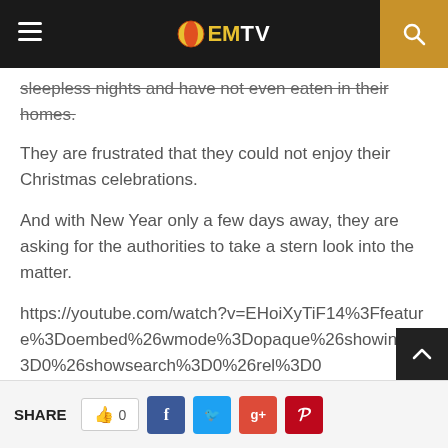EMTV
sleepless nights and have not even eaten in their homes.
They are frustrated that they could not enjoy their Christmas celebrations.
And with New Year only a few days away, they are asking for the authorities to take a stern look into the matter.
https://youtube.com/watch?v=EHoiXyTiF14%3Ffeature%3Doembed%26wmode%3Dopaque%26showinfo%3D0%26showsearch%3D0%26rel%3D0